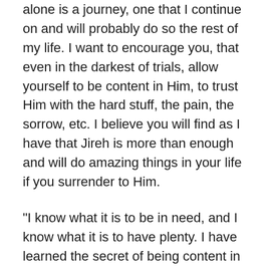alone is a journey, one that I continue on and will probably do so the rest of my life. I want to encourage you, that even in the darkest of trials, allow yourself to be content in Him, to trust Him with the hard stuff, the pain, the sorrow, etc. I believe you will find as I have that Jireh is more than enough and will do amazing things in your life if you surrender to Him.
“I know what it is to be in need, and I know what it is to have plenty. I have learned the secret of being content in any and every situation, whether well fed or hungry, whether living in plenty or in want. I can do all this through Him who gives me strength.” –